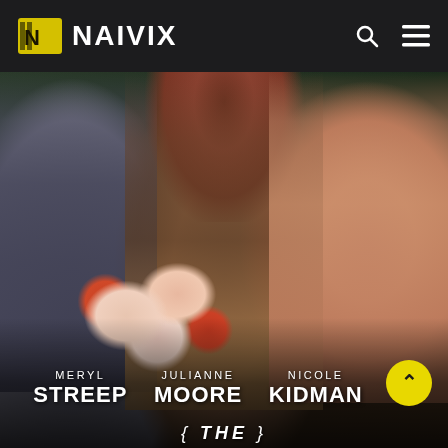NAIVIX
[Figure (photo): Movie poster showing three women (Meryl Streep, Julianne Moore, Nicole Kidman) from the chest down, with one holding a bouquet of roses. The figures are dressed in grey coat, brown/auburn outfit, and peach/salmon dress respectively against a dark background.]
MERYL STREEP
JULIANNE MOORE
NICOLE KIDMAN
{ THE